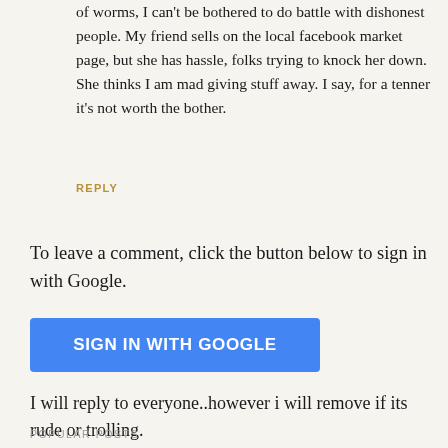of worms, I can't be bothered to do battle with dishonest people. My friend sells on the local facebook market page, but she has hassle, folks trying to knock her down. She thinks I am mad giving stuff away. I say, for a tenner it's not worth the bother.
REPLY
To leave a comment, click the button below to sign in with Google.
[Figure (other): Blue button with text SIGN IN WITH GOOGLE]
I will reply to everyone..however i will remove if its rude or trolling.
POPULAR POSTS